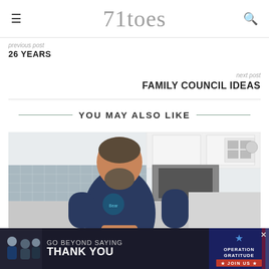71toes
26 YEARS
next post
FAMILY COUNCIL IDEAS
YOU MAY ALSO LIKE
[Figure (photo): Man with beard wearing a navy blue t-shirt standing in a modern kitchen with white cabinets and gray tile backsplash]
[Figure (infographic): Advertisement banner: GO BEYOND SAYING THANK YOU — Operation Gratitude JOIN US]